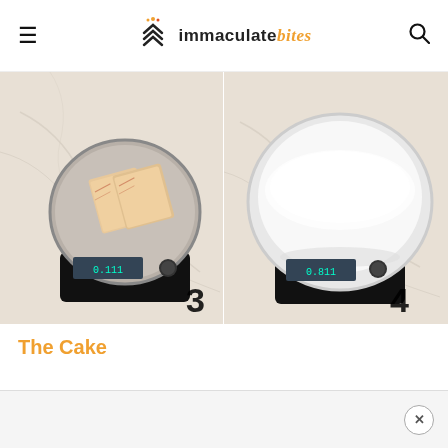immaculate bites
[Figure (photo): Two side-by-side food preparation photos. Left (step 3): Two sticks of butter on a round digital kitchen scale on a marble surface. Right (step 4): A white bowl of sugar on a digital kitchen scale on a marble surface. Numbers 3 and 4 are overlaid on the respective photos.]
The Cake